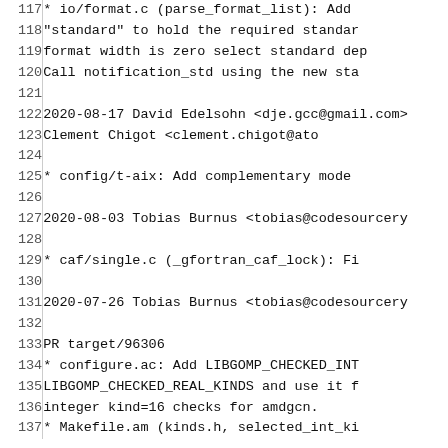Code/changelog lines 117-137 showing git log entries for libgomp/gcc changes including io/format.c, config/t-aix, caf/single.c, configure.ac, and Makefile.am modifications by David Edelsohn, Clement Chigot, and Tobias Burnus.